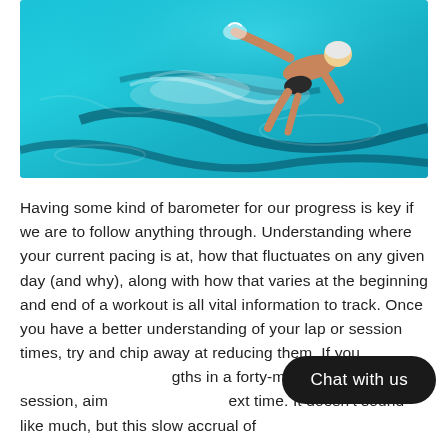[Figure (photo): Aerial view of a swimmer doing freestyle stroke in a blue pool, wearing a white swim cap]
Having some kind of barometer for our progress is key if we are to follow anything through. Understanding where your current pacing is at, how that fluctuates on any given day (and why), along with how that varies at the beginning and end of a workout is all vital information to track. Once you have a better understanding of your lap or session times, try and chip away at reducing them. If you [Chat with us] gths in a forty-minute swimming session, aim [Chat with us] ext time. It doesn't sound like much, but this slow accrual of